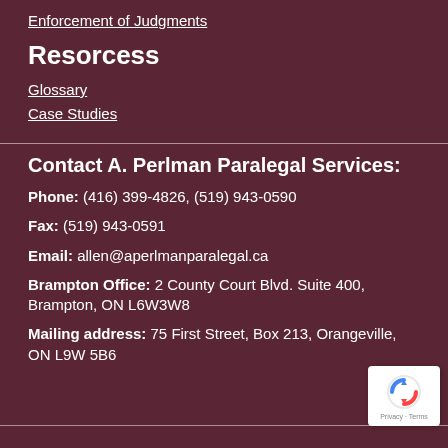Enforcement of Judgments
Resorcess
Glossary
Case Studies
Contact A. Perlman Paralegal Services:
Phone: (416) 399-4826, (519) 943-0590
Fax: (519) 943-0591
Email: allen@aperlmanparalegal.ca
Brampton Office: 2 County Court Blvd. Suite 400, Brampton, ON L6W3W8
Mailing address: 75 First Street, Box 213, Orangeville, ON L9W 5B6